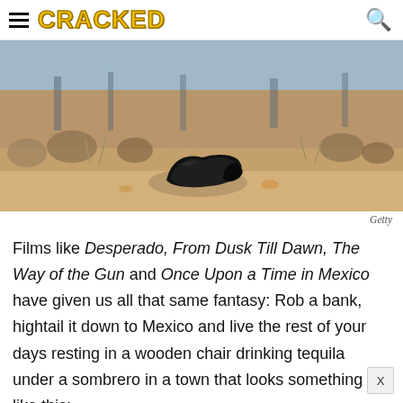CRACKED
[Figure (photo): A black shoe or boot lying in a desert/arid landscape with dry scrub brush and sandy ground, photographed at ground level with shallow depth of field. Credit: Getty]
Getty
Films like Desperado, From Dusk Till Dawn, The Way of the Gun and Once Upon a Time in Mexico have given us all that same fantasy: Rob a bank, hightail it down to Mexico and live the rest of your days resting in a wooden chair drinking tequila under a sombrero in a town that looks something like this: